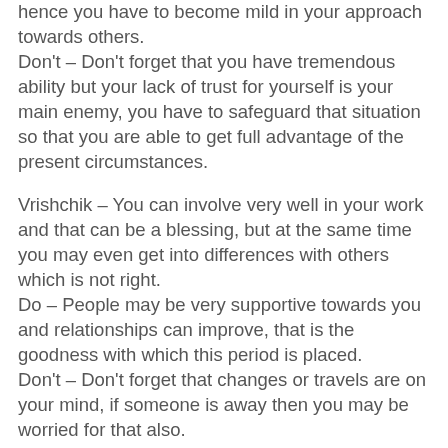hence you have to become mild in your approach towards others.
Don't – Don't forget that you have tremendous ability but your lack of trust for yourself is your main enemy, you have to safeguard that situation so that you are able to get full advantage of the present circumstances.
Vrishchik – You can involve very well in your work and that can be a blessing, but at the same time you may even get into differences with others which is not right.
Do – People may be very supportive towards you and relationships can improve, that is the goodness with which this period is placed.
Don't – Don't forget that changes or travels are on your mind, if someone is away then you may be worried for that also.
Dhanu – Psychological pressures can be immense which you are carrying on your mind, but still the situation is such that you have to avoid your uncontrolled losses.
Do – You may be worried for your loved ones and that is the negativity of this period, you have to understand that there is improvement in all those weak situations which have been